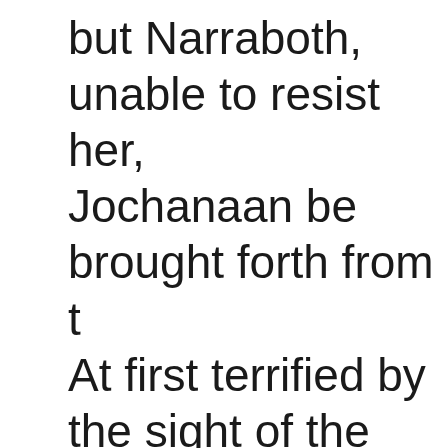but Narraboth, unable to resist her, Jochanaan be brought forth from t At first terrified by the sight of the Salome quickly becomes fascinate appearance, begging him to let he hair, then his skin, and finally his li Jochanaan forcefully rejects her. N who can't bear Salome's desire fo man, stabs himself. Salome, not n